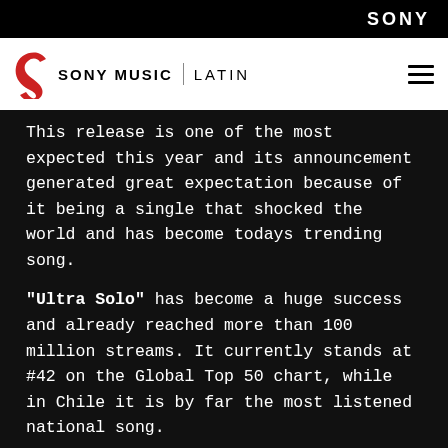SONY
[Figure (logo): Sony Music Latin logo with red swoosh icon, 'SONY MUSIC' text, divider, and 'LATIN' text on white header bar]
This release is one of the most expected this year and its announcement generated great expectation because of it being a single that shocked the world and has become todays trending song.
"Ultra Solo" has become a huge success and already reached more than 100 million streams. It currently stands at #42 on the Global Top 50 chart, while in Chile it is by far the most listened national song.